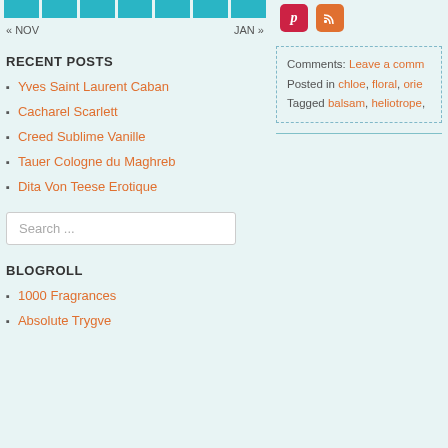[Figure (other): Teal/cyan calendar bar with multiple cells at the top of left column]
« NOV    JAN »
RECENT POSTS
Yves Saint Laurent Caban
Cacharel Scarlett
Creed Sublime Vanille
Tauer Cologne du Maghreb
Dita Von Teese Erotique
Search ...
BLOGROLL
1000 Fragrances
Absolute Trygve
[Figure (other): Social media icons: Pinterest (red P) and RSS (orange) in top right]
Comments: Leave a comm
Posted in chloe, floral, orie
Tagged balsam, heliotrope,